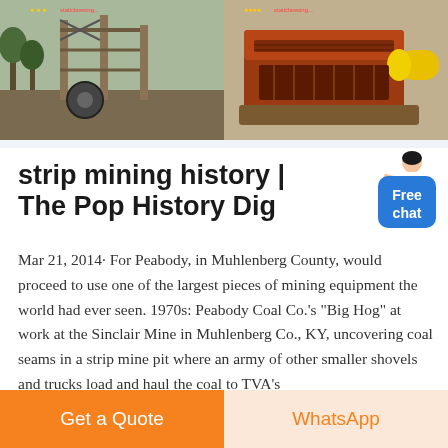[Figure (photo): Two photos of mining equipment and machinery at a mining site. Left photo shows construction/mining scaffolding and machinery outdoors. Right photo shows orange/yellow heavy mining equipment.]
strip mining history | The Pop History Dig
Mar 21, 2014· For Peabody, in Muhlenberg County, would proceed to use one of the largest pieces of mining equipment the world had ever seen. 1970s: Peabody Coal Co.'s "Big Hog" at work at the Sinclair Mine in Muhlenberg Co., KY, uncovering coal seams in a strip mine pit where an army of other smaller shovels and trucks load and haul the coal to TVA's